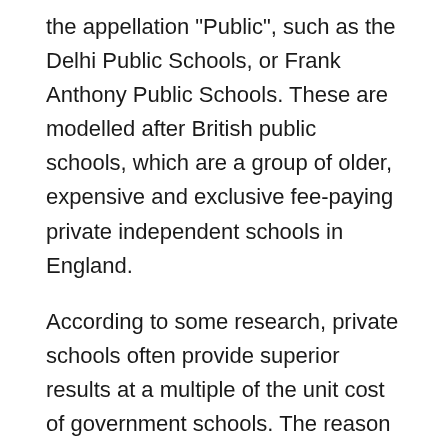the appellation "Public", such as the Delhi Public Schools, or Frank Anthony Public Schools. These are modelled after British public schools, which are a group of older, expensive and exclusive fee-paying private independent schools in England.
According to some research, private schools often provide superior results at a multiple of the unit cost of government schools. The reason being high aims and better vision. However, others have suggested that private schools fail to provide education to the poorest families, a selective being only a fifth of the schools and have in the past ignored Court orders for their regulation.
In their favour, it has been pointed out that private